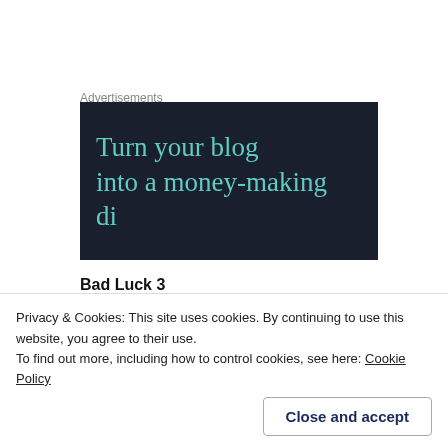Advertisements
[Figure (illustration): Dark navy advertisement banner showing text: 'Turn your blog into a money-making' with the next line partially cut off]
Bad Luck 3
Whilst we were looking out for Tony and Rob, Rob turned up behind us on the beach which was odd as he should be swimming. It turns out that around 3/4 of the
Privacy & Cookies: This site uses cookies. By continuing to use this website, you agree to their use.
To find out more, including how to control cookies, see here: Cookie Policy
Close and accept